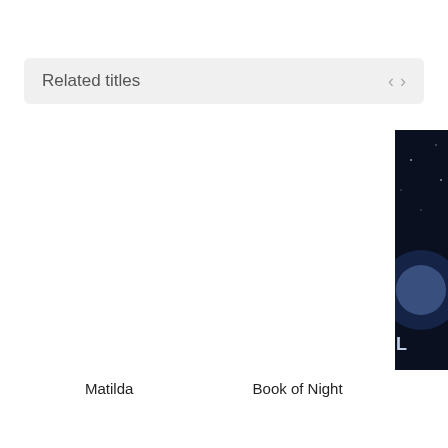Related titles
[Figure (photo): Book cover of Matilda by Roald Dahl, illustrated by Quentin Blake. Teal background with the character Matilda reading, large white text ROALD DAHL and yellow text MATILDA.]
Matilda
[Figure (photo): Book cover of Book of Night by Holly Black. Dark teal/navy background with gold decorative title text BOOK OF NIGHT and author name HOLLY BLACK, with a crescent moon and sun rays illustration.]
Book of Night
[Figure (photo): Partial view of a third book cover, dark background with stars, partially cropped on the right edge.]